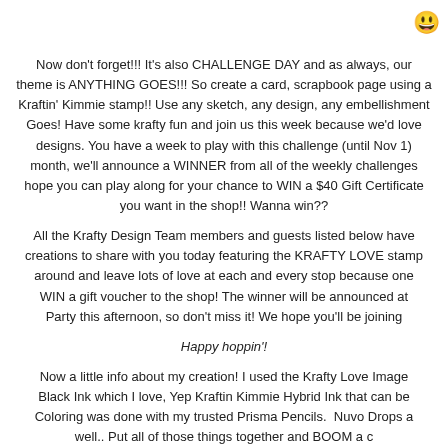[Figure (illustration): Smiley face emoji in yellow, positioned in the upper right area of the page]
Now don't forget!!! It's also CHALLENGE DAY and as always, our theme is ANYTHING GOES!!! So create a card, scrapbook page using a Kraftin' Kimmie stamp!! Use any sketch, any design, any embellishment Goes! Have some krafty fun and join us this week because we'd love designs. You have a week to play with this challenge (until Nov 1 month, we'll announce a WINNER from all of the weekly challenges hope you can play along for your chance to WIN a $40 Gift Certificate you want in the shop!! Wanna win??
All the Krafty Design Team members and guests listed below have creations to share with you today featuring the KRAFTY LOVE stamp around and leave lots of love at each and every stop because one WIN a gift voucher to the shop! The winner will be announced at Party this afternoon, so don't miss it! We hope you'll be joining
Happy hoppin'!
Now a little info about my creation! I used the Krafty Love Image Black Ink which I love, Yep Kraftin Kimmie Hybrid Ink that can be Coloring was done with my trusted Prisma Pencils. Nuvo Drops a well.. Put all of those things together and BOOM a c